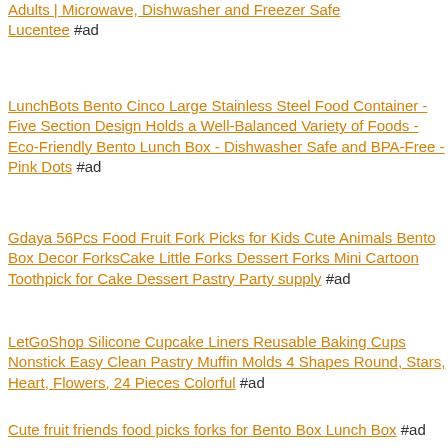Adults | Microwave, Dishwasher and Freezer Safe Lucentee #ad
LunchBots Bento Cinco Large Stainless Steel Food Container - Five Section Design Holds a Well-Balanced Variety of Foods - Eco-Friendly Bento Lunch Box - Dishwasher Safe and BPA-Free - Pink Dots #ad
Gdaya 56Pcs Food Fruit Fork Picks for Kids Cute Animals Bento Box Decor ForksCake Little Forks Dessert Forks Mini Cartoon Toothpick for Cake Dessert Pastry Party supply #ad
LetGoShop Silicone Cupcake Liners Reusable Baking Cups Nonstick Easy Clean Pastry Muffin Molds 4 Shapes Round, Stars, Heart, Flowers, 24 Pieces Colorful #ad
Cute fruit friends food picks forks for Bento Box Lunch Box #ad